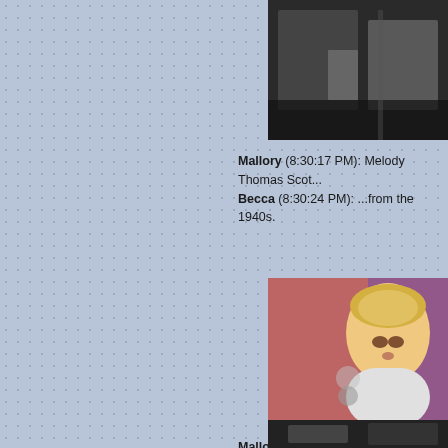[Figure (screenshot): Partial photo at top right, dark background with indistinct figures]
Mallory (8:30:17 PM): Melody Thomas Scot... Becca (8:30:24 PM): ...from the 1940s.
[Figure (screenshot): Photo of a blonde woman wearing white fur collar, red/purple background]
Mallory (8:30:49 PM): And the Gold's Gym p... Becca (8:30:55 PM): Van Hansis and Heath... compare bitchface notes.
[Figure (screenshot): Partial photo at bottom right, dark]